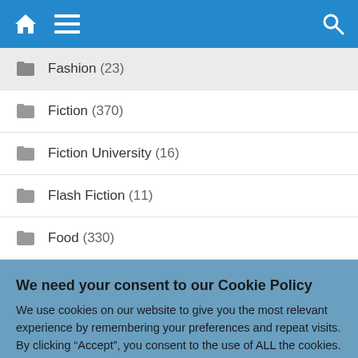Navigation bar with home icon, menu icon, and search icon
Fashion (23)
Fiction (370)
Fiction University (16)
Flash Fiction (11)
Food (330)
We need your consent to our Cookie Policy
We use cookies on our website to give you the most relevant experience by remembering your preferences and repeat visits. By clicking “Accept”, you consent to the use of ALL the cookies.
Do not sell my personal information.
Cookie Settings | Accept